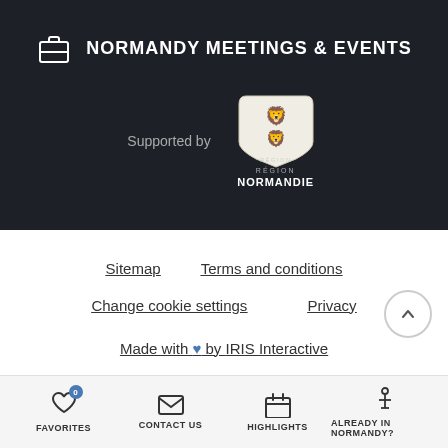NORMANDY MEETINGS & EVENTS
[Figure (logo): Région Normandie logo with heraldic lions on a flag shape]
Supported by
Sitemap
Terms and conditions
Change cookie settings
Privacy
Made with ♥ by IRIS Interactive
FAVORITES   CONTACT US   HIGHLIGHTS   ALREADY IN NORMANDY?